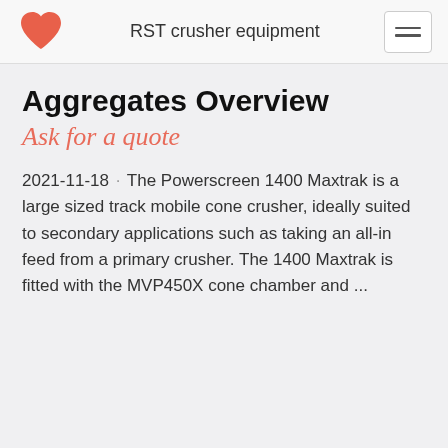RST crusher equipment
Aggregates Overview
Ask for a quote
2021-11-18 · The Powerscreen 1400 Maxtrak is a large sized track mobile cone crusher, ideally suited to secondary applications such as taking an all-in feed from a primary crusher. The 1400 Maxtrak is fitted with the MVP450X cone chamber and ...